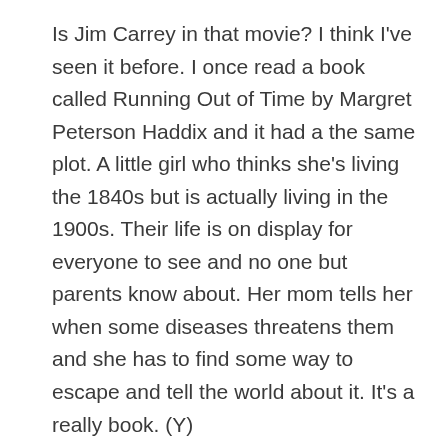Is Jim Carrey in that movie? I think I've seen it before. I once read a book called Running Out of Time by Margret Peterson Haddix and it had a the same plot. A little girl who thinks she's living the 1840s but is actually living in the 1900s. Their life is on display for everyone to see and no one but parents know about. Her mom tells her when some diseases threatens them and she has to find some way to escape and tell the world about it. It's a really book. (Y)
I'm too lazy for tutorials. XD
You're dedicated, that's why you have so much blogs. I'm going for 200 this year. :D